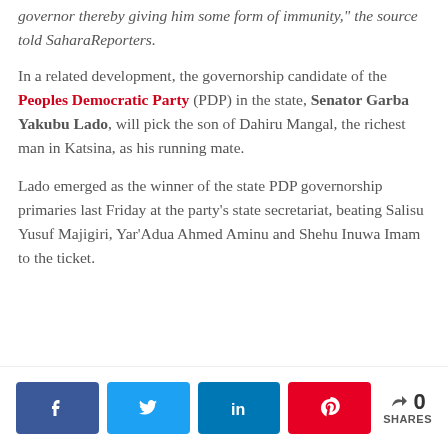governor thereby giving him some form of immunity," the source told SaharaReporters.
In a related development, the governorship candidate of the Peoples Democratic Party (PDP) in the state, Senator Garba Yakubu Lado, will pick the son of Dahiru Mangal, the richest man in Katsina, as his running mate.
Lado emerged as the winner of the state PDP governorship primaries last Friday at the party’s state secretariat, beating Salisu Yusuf Majigiri, Yar'Adua Ahmed Aminu and Shehu Inuwa Imam to the ticket.